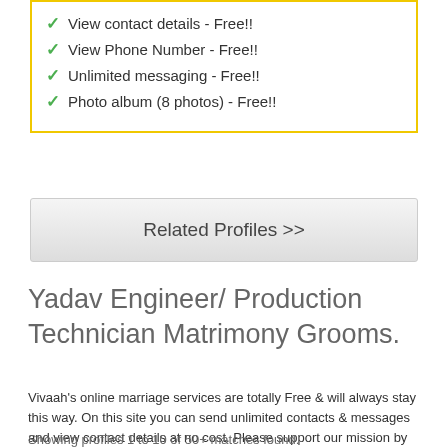✓ View contact details - Free!!
✓ View Phone Number - Free!!
✓ Unlimited messaging - Free!!
✓ Photo album (8 photos) - Free!!
Related Profiles >>
Yadav Engineer/ Production Technician Matrimony Grooms.
Vivaah's online marriage services are totally Free & will always stay this way. On this site you can send unlimited contacts & messages and view contact details at no cost. Please support our mission by joining.
Showing profiles 1 to 10 of 50+ matches found.
1 2 3 4 5 6 7 Next